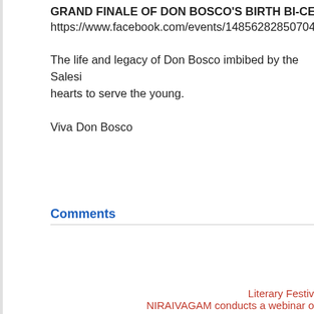GRAND FINALE OF DON BOSCO'S BIRTH BI-CENTENEA
https://www.facebook.com/events/14856282850704
The life and legacy of Don Bosco imbibed by the Salesi hearts to serve the young.
Viva Don Bosco
Comments
Literary Festiv
NIRAIVAGAM conducts a webinar o